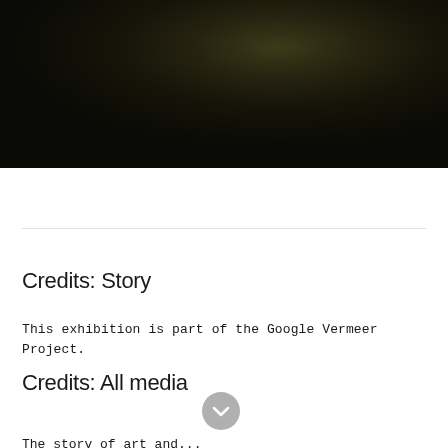[Figure (photo): Dark gradient background image, predominantly black with subtle brownish-green tones in the center]
Credits: Story
This exhibition is part of the Google Vermeer Project.
Credits: All media
The story of art and...